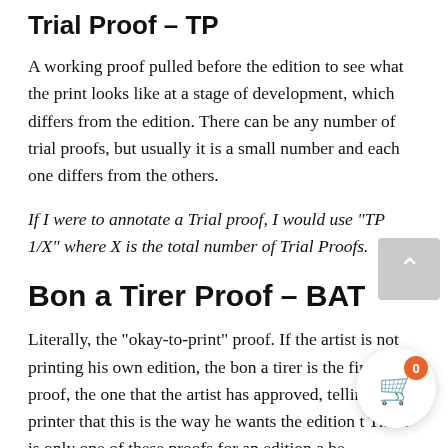Trial Proof – TP
A working proof pulled before the edition to see what the print looks like at a stage of development, which differs from the edition. There can be any number of trial proofs, but usually it is a small number and each one differs from the others.
If I were to annotate a Trial proof, I would use "TP 1/X" where X is the total number of Trial Proofs.
Bon a Tirer Proof – BAT
Literally, the "okay-to-print" proof. If the artist is not printing his own edition, the bon a tirer is the final trial proof, the one that the artist has approved, telling the printer that this is the way he wants the edition t… There is only one of these proofs for an edition a… be accompanied by printing notes (paper, ink or inking